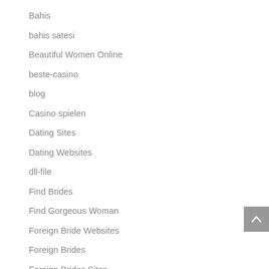Bahis
bahis satesi
Beautiful Women Online
beste-casino
blog
Casino spielen
Dating Sites
Dating Websites
dll-file
Find Brides
Find Gorgeous Woman
Foreign Bride Websites
Foreign Brides
Foreign Brides Sites